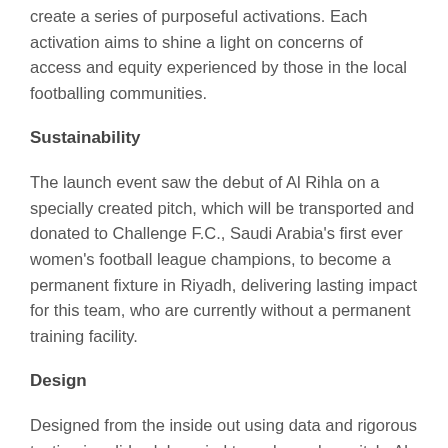create a series of purposeful activations. Each activation aims to shine a light on concerns of access and equity experienced by those in the local footballing communities.
Sustainability
The launch event saw the debut of Al Rihla on a specially created pitch, which will be transported and donated to Challenge F.C., Saudi Arabia's first ever women's football league champions, to become a permanent fixture in Riyadh, delivering lasting impact for this team, who are currently without a permanent training facility.
Design
Designed from the inside out using data and rigorous testing in adidas labs, wind tunnels, and on-pitch, Al Rihla provides the highest level of accuracy and reliability on the field of play, due in part to its new panel shape and surface textures: